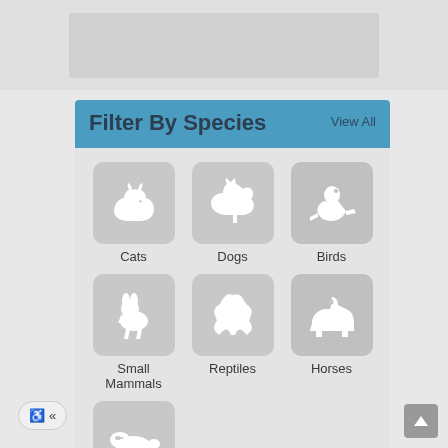[Figure (screenshot): Top gray bar placeholder area]
Filter By Species
View All
[Figure (illustration): Cats species icon - white cat silhouette on gray rounded square]
Cats
[Figure (illustration): Dogs species icon - white dog silhouette on gray rounded square]
Dogs
[Figure (illustration): Birds species icon - white bird silhouette on gray rounded square]
Birds
[Figure (illustration): Small Mammals species icon - white rabbit silhouette on gray rounded square]
Small Mammals
[Figure (illustration): Reptiles species icon - white lizard/gecko silhouette on gray rounded square]
Reptiles
[Figure (illustration): Horses species icon - white horse silhouette on gray rounded square]
Horses
[Figure (illustration): Mini-Pigs species icon - white pig silhouette on gray rounded square]
Mini-Pigs